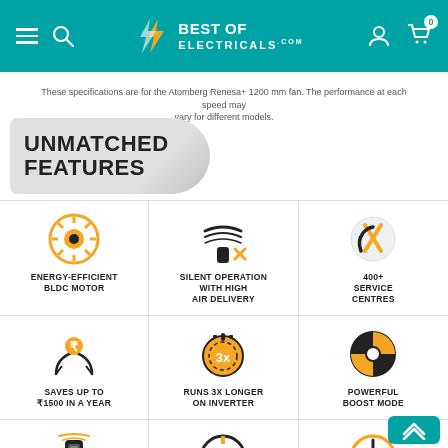[Figure (screenshot): Website header with Best of Electricals logo on teal background, hamburger menu, search icon, user icon, and cart icon with 0 badge]
These specifications are for the Atomberg Renesa+ 1200 mm fan. The performance at each speed may vary for different models.
UNMATCHED FEATURES
[Figure (infographic): Energy-Efficient BLDC Motor icon - yellow circle with gear/sun symbol]
ENERGY-EFFICIENT BLDC MOTOR
[Figure (infographic): Silent operation icon - fan with mute symbol]
SILENT OPERATION WITH HIGH AIR DELIVERY
[Figure (infographic): Service centres icon - wrench and screwdriver crossed]
400+ SERVICE CENTRES
[Figure (infographic): Savings icon - hands holding rupee coin]
SAVES UP TO ₹1500 IN A YEAR
[Figure (infographic): 3x inverter icon - stopwatch with 3x text]
RUNS 3X LONGER ON INVERTER
[Figure (infographic): Boost mode icon - life saver ring in yellow/black quarters]
POWERFUL BOOST MODE
[Figure (infographic): Smart remote icon - remote control with wifi signal]
SMART REMOTE WITH BOOST SLEEP
[Figure (infographic): Pure copper motor icon - circular coil/motor symbol]
100% PURE COPPER MOTOR
[Figure (infographic): Consistent speed icon - semicircle gauge with lightning bolt]
CONSISTENT SPEED EVEN AT LOW VOLTAGE WITH ZERO...